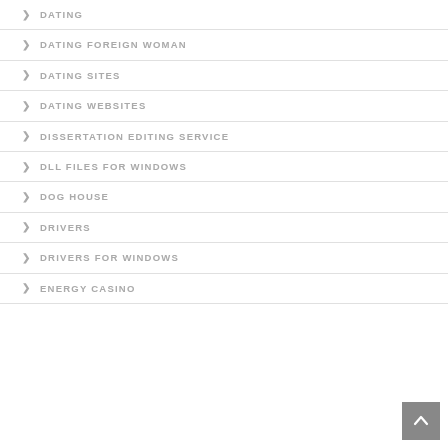DATING
DATING FOREIGN WOMAN
DATING SITES
DATING WEBSITES
DISSERTATION EDITING SERVICE
DLL FILES FOR WINDOWS
DOG HOUSE
DRIVERS
DRIVERS FOR WINDOWS
ENERGY CASINO